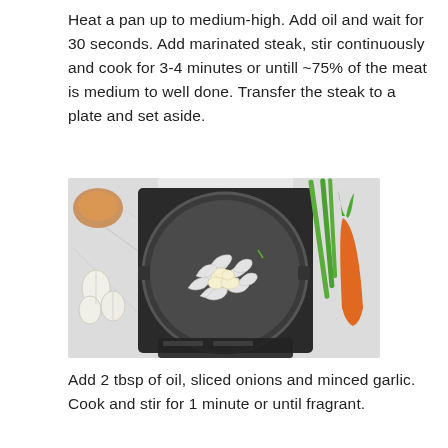Heat a pan up to medium-high. Add oil and wait for 30 seconds. Add marinated steak, stir continuously and cook for 3-4 minutes or untill ~75% of the meat is medium to well done. Transfer the steak to a plate and set aside.
[Figure (photo): Top-down view of a non-stick frying pan on an induction cooktop with sliced onions and minced garlic cooking inside. On the left side of the frame are garlic cloves on a marble surface. On the right side are green onions and a carrot.]
Add 2 tbsp of oil, sliced onions and minced garlic. Cook and stir for 1 minute or until fragrant.